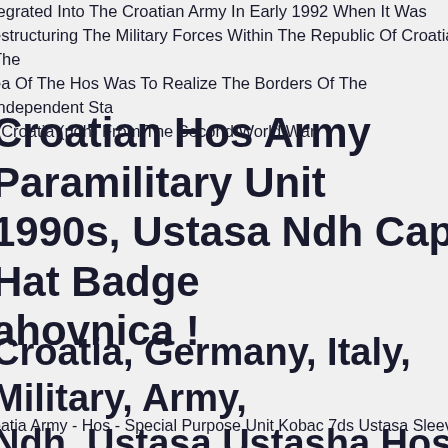tegrated Into The Croatian Army In Early 1992 When It Was estructuring The Military Forces Within The Republic Of Croatia. The ea Of The Hos Was To Realize The Borders Of The Independent Sta f Croatia (ndh) From The Second World War.
Croatian Hos Army Paramilitary Unit 1990s, Ustasa Ndh Cap Hat Badge ahovnica !
Croatia, Germany, Italy, Military, Army, Ndh, Ustasa Ustasha Hos Badge, Pin
oatia Army - Hos - Special Purpose Unit Kobac 7ds Ustasa Sleeve